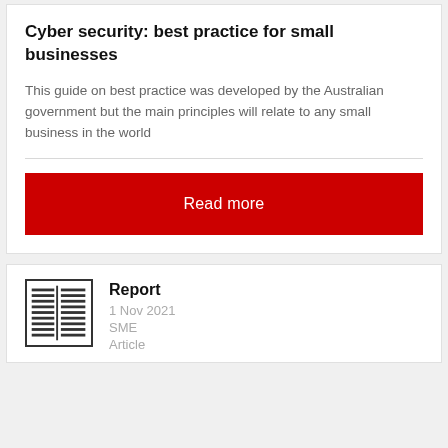Cyber security: best practice for small businesses
This guide on best practice was developed by the Australian government but the main principles will relate to any small business in the world
Read more
Report
1 Nov 2021
SME
Article